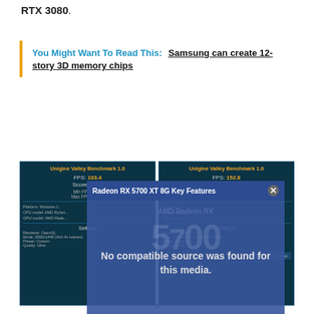RTX 3080.
You Might Want To Read This: Samsung can create 12-story 3D memory chips
[Figure (screenshot): Two side-by-side Unigine Valley Benchmark 1.0 results. Left panel: FPS 103.4, Score 4328, Min FPS 45.2, Max FPS 351.9. Right panel: FPS 152.8, Score 6395, Min FPS 39.6, Max FPS 329.3. An overlay modal shows 'Radeon RX 5700 XT 8G Key Features' with 'No compatible source was found for this media.' and 'XT review' text.]